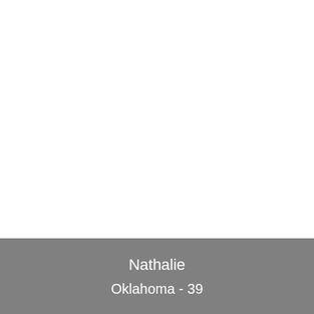[Figure (photo): White/blank area occupying the upper portion of the page, likely a photo placeholder]
Nathalie

Oklahoma - 39